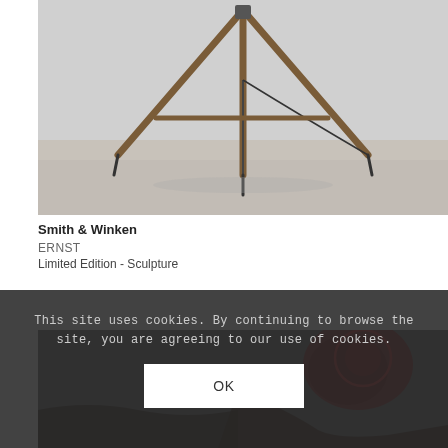[Figure (photo): A tripod-like sculpture with wooden legs and pointed metal tips standing on a light gray gallery floor against a light gray wall. A thin cord or wire hangs from the top. Photo in desaturated tones.]
Smith & Winken
ERNST
Limited Edition - Sculpture
[Figure (photo): Partial view of a second artwork in a darker setting, showing reddish/dark forms, partially obscured by a cookie consent overlay.]
This site uses cookies. By continuing to browse the site, you are agreeing to our use of cookies.
OK